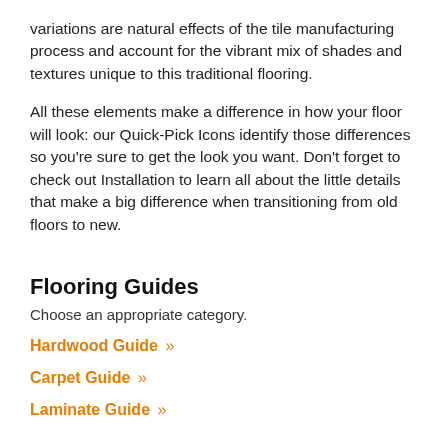variations are natural effects of the tile manufacturing process and account for the vibrant mix of shades and textures unique to this traditional flooring.
All these elements make a difference in how your floor will look: our Quick-Pick Icons identify those differences so you're sure to get the look you want. Don't forget to check out Installation to learn all about the little details that make a big difference when transitioning from old floors to new.
Flooring Guides
Choose an appropriate category.
Hardwood Guide »
Carpet Guide »
Laminate Guide »